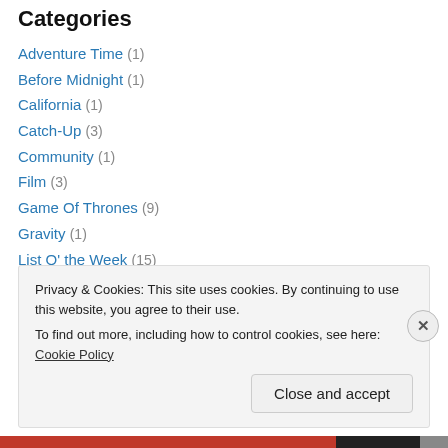Categories
Adventure Time (1)
Before Midnight (1)
California (1)
Catch-Up (3)
Community (1)
Film (3)
Game Of Thrones (9)
Gravity (1)
List O' the Week (15)
Mad Men (12)
Movie (7)
Music (16)
Privacy & Cookies: This site uses cookies. By continuing to use this website, you agree to their use. To find out more, including how to control cookies, see here: Cookie Policy
Close and accept